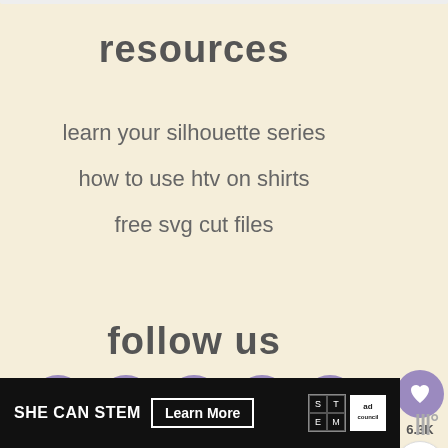resources
learn your silhouette series
how to use htv on shirts
free svg cut files
follow us
[Figure (infographic): Five social media icon circles in purple: Facebook, Pinterest, Instagram, YouTube, Email, with a heart/share widget on the right side showing 6.3K]
[Figure (infographic): SHE CAN STEM ad banner with Learn More button, STEM grid logo, ad council logo]